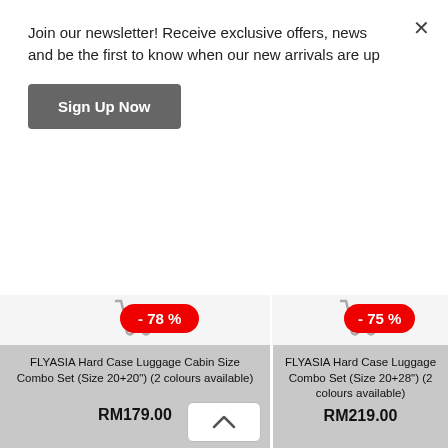Join our newsletter! Receive exclusive offers, news and be the first to know when our new arrivals are up
×
Sign Up Now
[Figure (infographic): Shopping cart icon (greyed out) for left product]
[Figure (infographic): Shopping cart icon (greyed out) for right product]
- 78 %
- 75 %
FLYASIA Hard Case Luggage Cabin Size Combo Set (Size 20+20") (2 colours available)
RM179.00
FLYASIA Hard Case Luggage Combo Set (Size 20+28") (2 colours available)
RM219.00